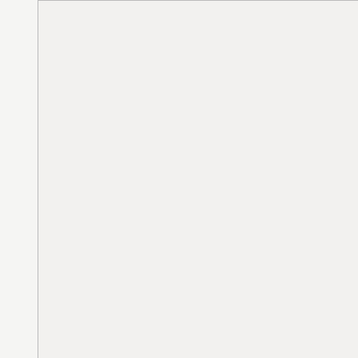[Figure (other): Left panel showing a mostly blank/white document area with a thin border on the left and right sides.]
|  |  |
| --- | --- |
| PEMJ | 505 |
| PEMJ | 508 |
| PEMJ | 510 |
| PEMJ | 512 |
| PEMJ | 514 |
| PEMJ | 521 |
| PEMJ | 530 |
| PEMJ | 531 |
| PEMJ | 539 |
| PEMJ | 540 |
| PEMJ | 541 |
| PEMJ | 542 |
| PEMJ | 543 |
| PEMJ | 544 |
| PEMJ | 546 |
| PEMJ | 547 |
| PEMJ | 548 |
| PEMJ | 552 |
| PEMJ | 554 |